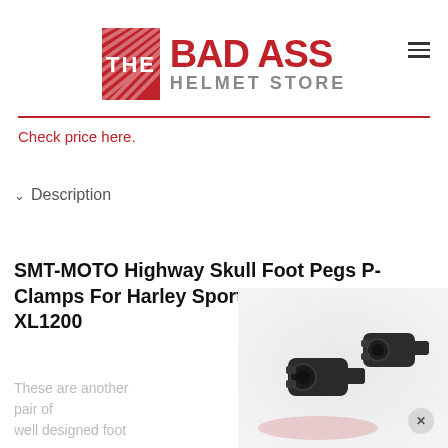[Figure (logo): The Bad Ass Helmet Store logo with red square box on left containing diagonal stripe pattern and 'THE', with large red bold 'BAD ASS' text and grey 'HELMET STORE' text below]
Check price here.
Description
SMT-MOTO Highway Skull Foot Pegs P-Clamps For Harley Sportster 883 1340 XL1200
These are another pair of well designed foot pegs from one of the industr
[Figure (photo): Black metal foot peg P-clamps hardware parts for Harley motorcycle]